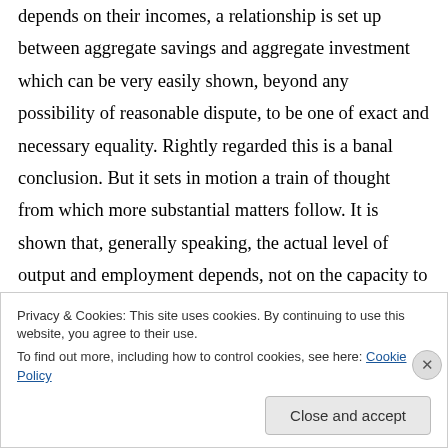depends on their incomes, a relationship is set up between aggregate savings and aggregate investment which can be very easily shown, beyond any possibility of reasonable dispute, to be one of exact and necessary equality. Rightly regarded this is a banal conclusion. But it sets in motion a train of thought from which more substantial matters follow. It is shown that, generally speaking, the actual level of output and employment depends, not on the capacity to produce or on the pre-existing level of incomes,
Privacy & Cookies: This site uses cookies. By continuing to use this website, you agree to their use.
To find out more, including how to control cookies, see here: Cookie Policy